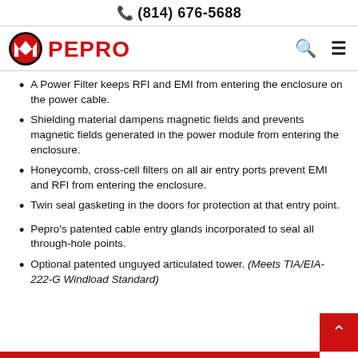(814) 676-5688
[Figure (logo): Pepro company logo with stylized M/W shield in red and black, text PEPRO in red, alongside search and hamburger menu icons]
A Power Filter keeps RFI and EMI from entering the enclosure on the power cable.
Shielding material dampens magnetic fields and prevents magnetic fields generated in the power module from entering the enclosure.
Honeycomb, cross-cell filters on all air entry ports prevent EMI and RFI from entering the enclosure.
Twin seal gasketing in the doors for protection at that entry point.
Pepro's patented cable entry glands incorporated to seal all through-hole points.
Optional patented unguyed articulated tower. (Meets TIA/EIA-222-G Windload Standard)